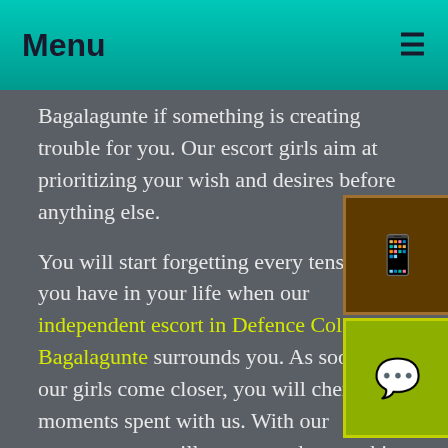Menu
Bagalagunte if something is creating trouble for you. Our escort girls aim at prioritizing your wish and desires before anything else.
You will start forgetting every tension you have in your life when our independent escort in Defence Colony Bagalagunte surrounds you. As soon as our girls come closer, you will cherish the moments spent with us. With our presence, you will not remember anything other than us and our services. Afterward, no matter after how long you are availing of our services.
You will always remember what we have provided our services. Our escort service in Defence Colony Bagalagunte is not limited up to certain kinds of services. Instead, we keep enhancing our service range through porn movies and videos. Our girls can